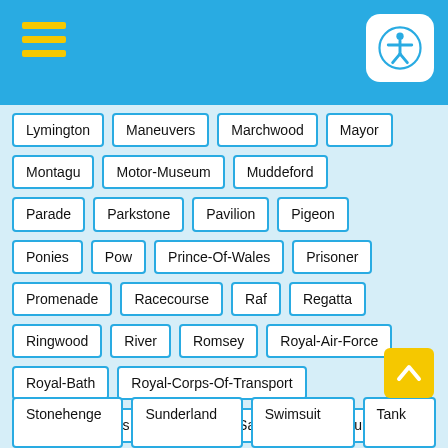Lymington
Maneuvers
Marchwood
Mayor
Montagu
Motor-Museum
Muddeford
Parade
Parkstone
Pavilion
Pigeon
Ponies
Pow
Prince-Of-Wales
Prisoner
Promenade
Racecourse
Raf
Regatta
Ringwood
River
Romsey
Royal-Air-Force
Royal-Bath
Royal-Corps-Of-Transport
Royal-Engineers
Rufus
Sailing
Salisbury
Salisbury-Plain
Saxon
Schneider
Seafront
Seaplane
Ship
Solent
Solstice
Southampton
Steam
Steeplejack
Stonehenge
Sunderland
Swimsuit
Tank